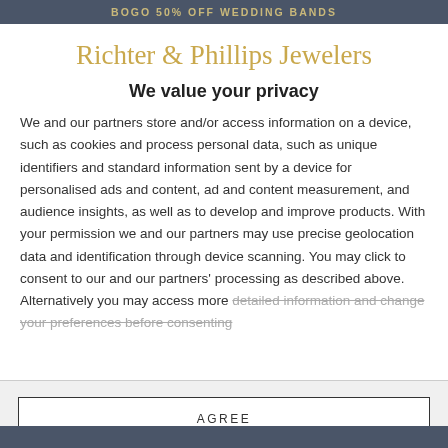BOGO 50% OFF WEDDING BANDS
Richter & Phillips Jewelers
We value your privacy
We and our partners store and/or access information on a device, such as cookies and process personal data, such as unique identifiers and standard information sent by a device for personalised ads and content, ad and content measurement, and audience insights, as well as to develop and improve products. With your permission we and our partners may use precise geolocation data and identification through device scanning. You may click to consent to our and our partners' processing as described above. Alternatively you may access more detailed information and change your preferences before consenting
AGREE
MORE OPTIONS